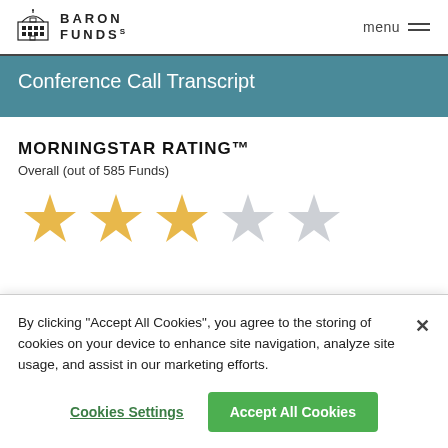BARON FUNDS | menu
Conference Call Transcript
MORNINGSTAR RATING™
Overall (out of 585 Funds)
[Figure (other): Star rating showing 3 out of 5 gold stars, then 2 grey stars, for Morningstar Rating]
By clicking "Accept All Cookies", you agree to the storing of cookies on your device to enhance site navigation, analyze site usage, and assist in our marketing efforts.
Cookies Settings | Accept All Cookies